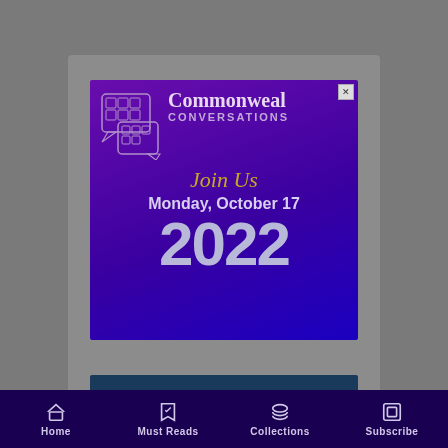[Figure (screenshot): Commonweal Conversations advertisement banner with purple/blue gradient background showing geometric chat bubble logo, title 'Commonweal CONVERSATIONS', text 'Join Us Monday, October 17' and large '2022']
Home | Must Reads | Collections | Subscribe